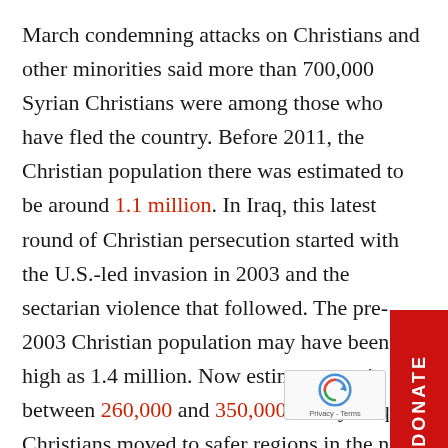March condemning attacks on Christians and other minorities said more than 700,000 Syrian Christians were among those who have fled the country. Before 2011, the Christian population there was estimated to be around 1.1 million. In Iraq, this latest round of Christian persecution started with the U.S.-led invasion in 2003 and the sectarian violence that followed. The pre-2003 Christian population may have been as high as 1.4 million. Now estimates put it between 260,000 and 350,000. Many Iraqi Christians moved to safer regions in the north under Kurdish control, but now ISIS is threatening them there too. Reports of atrocities against Christians, as well as the ransacking of shrines such as the tomb of Jonah in Mosul last July, have sparked dire predictions from like...
[Figure (other): Red DONATE button tab on right side of page, rotated vertically]
[Figure (other): reCAPTCHA widget in lower right corner showing Google reCAPTCHA logo and Privacy - Terms text]